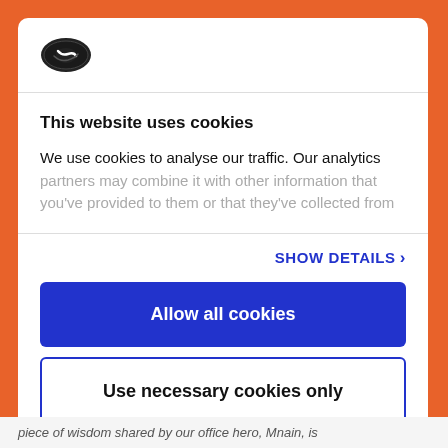[Figure (logo): Cookiebot logo — dark oval/cookie shape icon]
This website uses cookies
We use cookies to analyse our traffic. Our analytics partners may combine it with other information that you've provided to them or that they've collected from
SHOW DETAILS >
Allow all cookies
Use necessary cookies only
POWERED BY COOKIEBOT BY USERCENTRICS
piece of wisdom shared by our office hero, Mnain, is